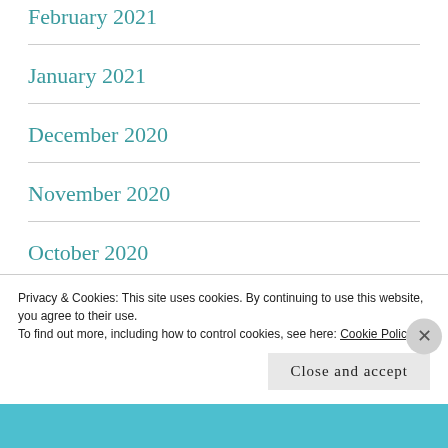February 2021
January 2021
December 2020
November 2020
October 2020
September 2020
August 2020
July 2020
Privacy & Cookies: This site uses cookies. By continuing to use this website, you agree to their use.
To find out more, including how to control cookies, see here: Cookie Policy
Close and accept